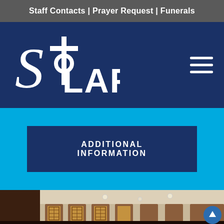Staff Contacts | Prayer Request | Funerals
[Figure (logo): St. Olaf church logo with stylized 'St' cross and 'LAF' text in white on navy background]
ADDITIONAL INFORMATION
[Figure (photo): Interior of a church showing wooden decorative panels with geometric lattice patterns, recessed ceiling lights, and wooden wall panels in warm brown tones]